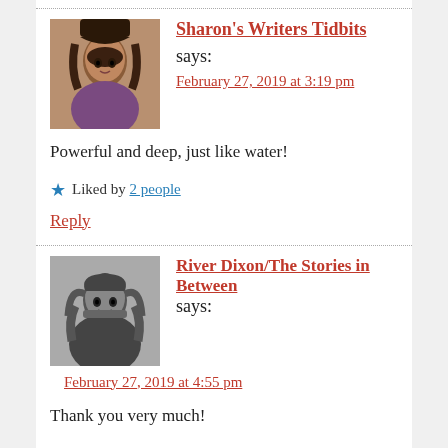Sharon's Writers Tidbits says: February 27, 2019 at 3:19 pm
Powerful and deep, just like water!
Liked by 2 people
Reply
River Dixon/The Stories in Between says: February 27, 2019 at 4:55 pm
Thank you very much!